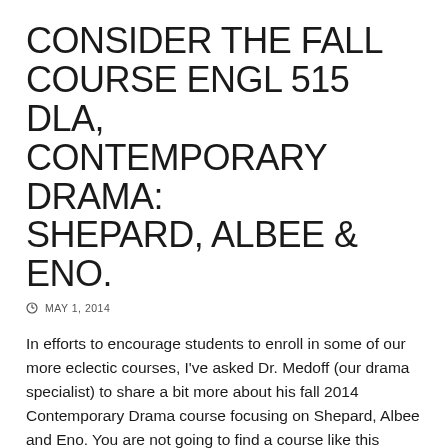CONSIDER THE FALL COURSE ENGL 515 DLA, CONTEMPORARY DRAMA: SHEPARD, ALBEE & ENO.
MAY 1, 2014
In efforts to encourage students to enroll in some of our more eclectic courses, I've asked Dr. Medoff (our drama specialist) to share a bit more about his fall 2014 Contemporary Drama course focusing on Shepard, Albee and Eno. You are not going to find a course like this anywhere else. Here's what he wrote:
THREE AMERICAN PLAYWRIGHTS OF THE NON-BROADWAY TRADITION
Sam Shepard became involved in the Off-Off-Broadway